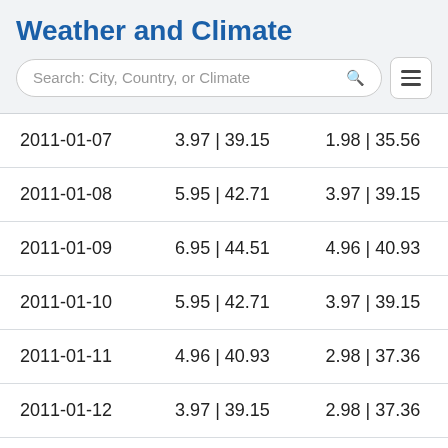Weather and Climate
| 2011-01-07 | 3.97 | 39.15 | 1.98 | 35.56 |
| 2011-01-08 | 5.95 | 42.71 | 3.97 | 39.15 |
| 2011-01-09 | 6.95 | 44.51 | 4.96 | 40.93 |
| 2011-01-10 | 5.95 | 42.71 | 3.97 | 39.15 |
| 2011-01-11 | 4.96 | 40.93 | 2.98 | 37.36 |
| 2011-01-12 | 3.97 | 39.15 | 2.98 | 37.36 |
| 2011-01-13 | 3.97 | 39.15 | 1.98 | 35.56 |